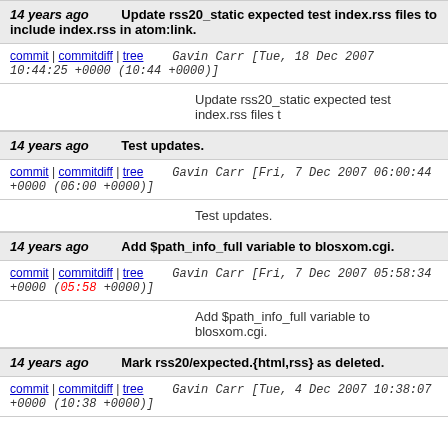14 years ago   Update rss20_static expected test index.rss files to include index.rss in atom:link.
commit | commitdiff | tree   Gavin Carr [Tue, 18 Dec 2007 10:44:25 +0000 (10:44 +0000)]
Update rss20_static expected test index.rss files t
14 years ago   Test updates.
commit | commitdiff | tree   Gavin Carr [Fri, 7 Dec 2007 06:00:44 +0000 (06:00 +0000)]
Test updates.
14 years ago   Add $path_info_full variable to blosxom.cgi.
commit | commitdiff | tree   Gavin Carr [Fri, 7 Dec 2007 05:58:34 +0000 (05:58 +0000)]
Add $path_info_full variable to blosxom.cgi.
14 years ago   Mark rss20/expected.{html,rss} as deleted.
commit | commitdiff | tree   Gavin Carr [Tue, 4 Dec 2007 10:38:07 +0000 (10:38 +0000)]